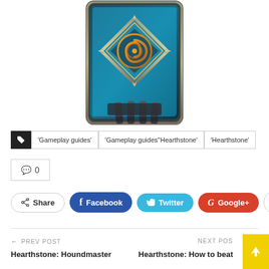[Figure (illustration): Hearthstone card back artwork featuring a blue metallic card with a golden/orange spiral Hearthstone logo emblem in the center, framed by silver diamond-shaped border with spikes, claws visible at the bottom, dark tactical/industrial style]
'Gameplay guides'
'Gameplay guides''Hearthstone'
'Hearthstone'
0
Share  Facebook  Twitter  Google+  +
← PREV POST
NEXT POST
Hearthstone: Houndmaster
Hearthstone: How to beat